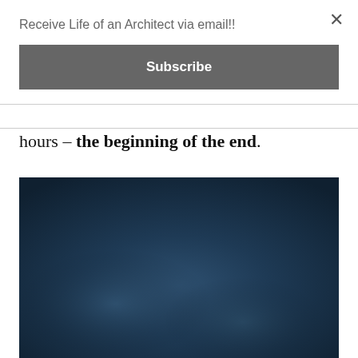Receive Life of an Architect via email!!
Subscribe
hours – the beginning of the end.
[Figure (photo): Dark blue/navy photograph, appears to be a night or dusk sky or architectural scene with muted blue tones and subtle lighter areas.]